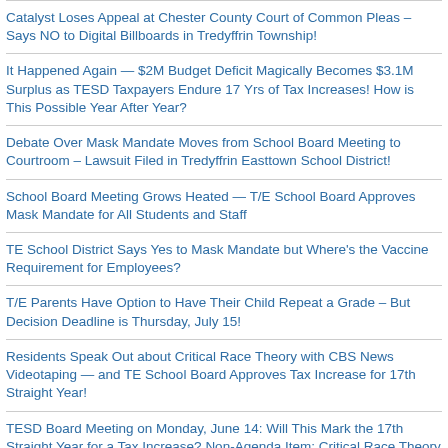Catalyst Loses Appeal at Chester County Court of Common Pleas – Says NO to Digital Billboards in Tredyffrin Township!
It Happened Again — $2M Budget Deficit Magically Becomes $3.1M Surplus as TESD Taxpayers Endure 17 Yrs of Tax Increases! How is This Possible Year After Year?
Debate Over Mask Mandate Moves from School Board Meeting to Courtroom – Lawsuit Filed in Tredyffrin Easttown School District!
School Board Meeting Grows Heated — T/E School Board Approves Mask Mandate for All Students and Staff
TE School District Says Yes to Mask Mandate but Where's the Vaccine Requirement for Employees?
T/E Parents Have Option to Have Their Child Repeat a Grade – But Decision Deadline is Thursday, July 15!
Residents Speak Out about Critical Race Theory with CBS News Videotaping — and TE School Board Approves Tax Increase for 17th Straight Year!
TESD Board Meeting on Monday, June 14: Will This Mark the 17th Straight Year for a Tax Increase? Non-Agenda Item: Critical Race Theory Has Parents Looking for Answers